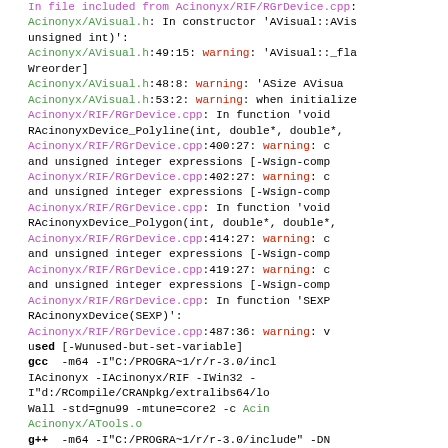In file included from Acinonyx/RIF/RGrDevice.cpp: Acinonyx/AVisual.h: In constructor 'AVisual::AVisual(unsigned int)': Acinonyx/AVisual.h:49:15: warning: 'AVisual::_flag' [-Wreorder] Acinonyx/AVisual.h:48:8: warning: 'ASize AVisual... Acinonyx/AVisual.h:53:2: warning: when initialize... Acinonyx/RIF/RGrDevice.cpp: In function 'void RAcinonyxDevice_Polyline(int, double*, double*,... Acinonyx/RIF/RGrDevice.cpp:400:27: warning: comparison between signed and unsigned integer expressions [-Wsign-comp Acinonyx/RIF/RGrDevice.cpp:402:27: warning: comparison between signed and unsigned integer expressions [-Wsign-comp Acinonyx/RIF/RGrDevice.cpp: In function 'void RAcinonyxDevice_Polygon(int, double*, double*,... Acinonyx/RIF/RGrDevice.cpp:414:27: warning: comparison between signed and unsigned integer expressions [-Wsign-comp Acinonyx/RIF/RGrDevice.cpp:419:27: warning: comparison between signed and unsigned integer expressions [-Wsign-comp Acinonyx/RIF/RGrDevice.cpp: In function 'SEXP RAcinonyxDevice(SEXP)': Acinonyx/RIF/RGrDevice.cpp:487:36: warning: variable ... used [-Wunused-but-set-variable] gcc -m64 -I"C:/PROGRA~1/r/r-3.0/include" -IAcinonyx -IAcinonyx/RIF -IWin32 -I"d:/RCompile/CRANpkg/extralibs64/local... -Wall -std=gnu99 -mtune=core2 -c Acinonyx/ATools.o g++ -m64 -I"C:/PROGRA~1/r/r-3.0/include" -DN...